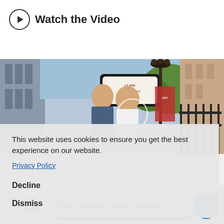[Figure (screenshot): Watch the Video button with play circle icon and bold text]
[Figure (photo): Street photo showing two men talking outside a building with a CLINE MARKET LIQUOR sign and lamp posts]
This website uses cookies to ensure you get the best experience on our website.
Privacy Policy
Decline
Dismiss
Hello, how can I help you today?